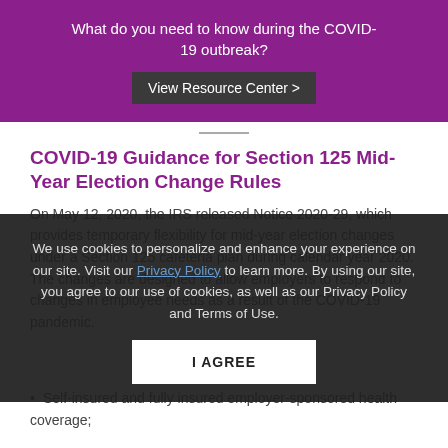What do you need to know during the COVID-19 outbreak? View Resource Center >
COVID-19 Guidance for Section 125 Mid-Year Election Change Rules
On May 12, 2020, the IRS released Notice 2020-29, which provides temporary flexibility for mid-year election changes under a Section 125 cafeteria plan during calendar year 2020. The changes are designed to allow employers to respond to changes in employee needs as a result of the COVID-19 pandemic.
We use cookies to personalize and enhance your experience on our site. Visit our Privacy Policy to learn more. By using our site, you agree to our use of cookies, as well as our Privacy Policy and Terms of Use.
This guidance relates to elections for:
Self-insured and fully insured employer-sponsored health coverage;